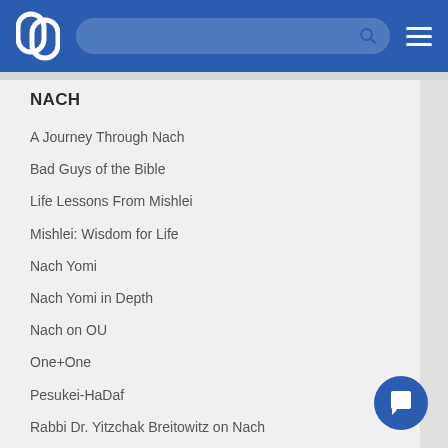OU Torah — NACH
NACH
A Journey Through Nach
Bad Guys of the Bible
Life Lessons From Mishlei
Mishlei: Wisdom for Life
Nach Yomi
Nach Yomi in Depth
Nach on OU
One+One
Pesukei-HaDaf
Rabbi Dr. Yitzchak Breitowitz on Nach
Rabbi Dr. Yitzchak Breitowitz on Shir HaShirim
Rabbi Etshalom on Esther